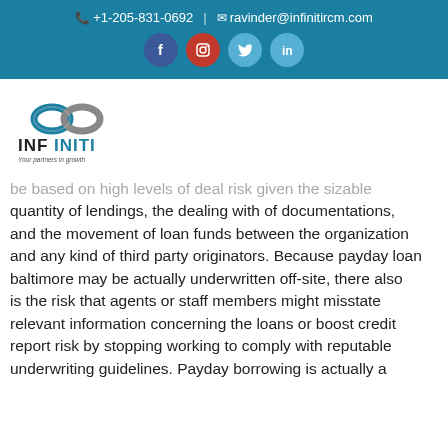+1-205-831-0692 | ravinder@infinitircm.com
[Figure (logo): Infiniti RCM logo with infinity symbol and text INFINITI Your partners in growth]
be based on high levels of deal risk given the sizable quantity of lendings, the dealing with of documentations, and the movement of loan funds between the organization and any kind of third party originators. Because payday loan baltimore may be actually underwritten off-site, there also is the risk that agents or staff members might misstate relevant information concerning the loans or boost credit report risk by stopping working to comply with reputable underwriting guidelines. Payday borrowing is actually a